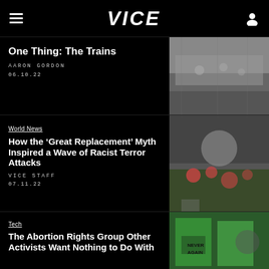VICE
One Thing: The Trains
AARON GORDON
06.10.22
[Figure (photo): Interior of a busy train station with travelers]
World News
How the ‘Great Replacement’ Myth Inspired a Wave of Racist Terror Attacks
VICE STAFF
07.11.22
[Figure (photo): Memorial flowers and smiling woman photo]
Tech
The Abortion Rights Group Other Activists Want Nothing to Do With
[Figure (photo): Protesters holding green NEVER AGAIN signs]